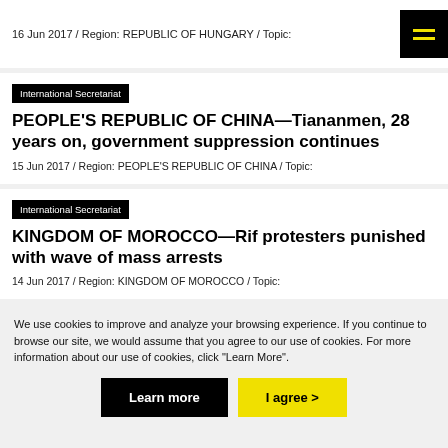16 Jun 2017 / Region: REPUBLIC OF HUNGARY / Topic:
International Secretariat
PEOPLE'S REPUBLIC OF CHINA—Tiananmen, 28 years on, government suppression continues
15 Jun 2017 / Region: PEOPLE'S REPUBLIC OF CHINA / Topic:
International Secretariat
KINGDOM OF MOROCCO—Rif protesters punished with wave of mass arrests
14 Jun 2017 / Region: KINGDOM OF MOROCCO / Topic:
We use cookies to improve and analyze your browsing experience. If you continue to browse our site, we would assume that you agree to our use of cookies. For more information about our use of cookies, click "Learn More".
Learn more
I agree  >